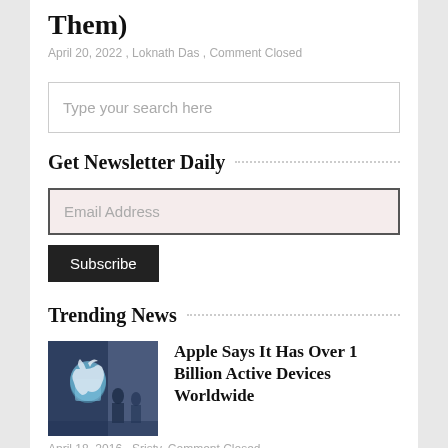Them)
April 20, 2022 , Loknath Das , Comment Closed
[Figure (screenshot): Search input box with placeholder text 'Type your search here']
Get Newsletter Daily
[Figure (screenshot): Email address input field with light pink background and Subscribe button]
Trending News
[Figure (photo): Thumbnail photo showing Apple store with people and Apple logo]
Apple Says It Has Over 1 Billion Active Devices Worldwide
April 18, 2016 , Sristy, Comment Closed